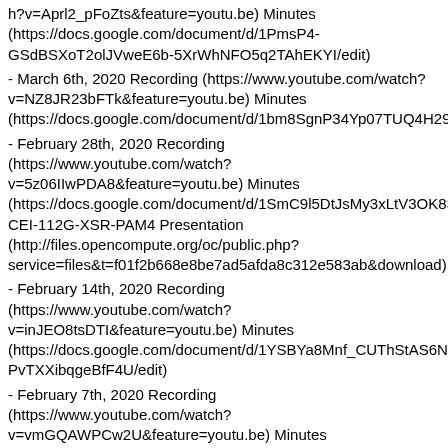h?v=Aprl2_pFoZts&feature=youtu.be) Minutes (https://docs.google.com/document/d/1PmsP4-GSdBSXoT2olJVweE6b-5XrWhNFO5q2TAhEKYI/edit)
- March 6th, 2020 Recording (https://www.youtube.com/watch?v=NZ8JR23bFTk&feature=youtu.be) Minutes (https://docs.google.com/document/d/1bm8SgnP34Yp07TUQ4H29X41CXzM3tIkdrCdSjMDAUv8/edit)
- February 28th, 2020 Recording (https://www.youtube.com/watch?v=5z06IIwPDA8&feature=youtu.be) Minutes (https://docs.google.com/document/d/1SmC9l5DtJsMy3xLtV3OK8S0SFZd3L5WzXhD4NGijnXU/edit) CEI-112G-XSR-PAM4 Presentation (http://files.opencompute.org/oc/public.php?service=files&t=f01f2b668e8be7ad5afda8c312e583ab&download)
- February 14th, 2020 Recording (https://www.youtube.com/watch?v=inJEO8tsDTI&feature=youtu.be) Minutes (https://docs.google.com/document/d/1YSBYa8Mnf_CUThStAS6NPJbmkaO-PvTXXibqgeBfF4U/edit)
- February 7th, 2020 Recording (https://www.youtube.com/watch?v=vmGQAWPCw2U&feature=youtu.be) Minutes (https://docs.google.com/document/d/14-bFz451z2vtiyS5AusNmb6NBAHrL8y_ctG69nCv8SA/edit)
- January 31st, 2020 Recording (https://www.youtube.com/watch?v=I_rF_8KoWnQ&feature=youtu.be) Minutes (https://docs.google.com/document/d/11aPz0QUiNQXtLN-on1fQeaYtjJk18jR1iqAjZzun9RU/edit)
- January 24th, 2020 Recording (https://www.youtube.com/wat